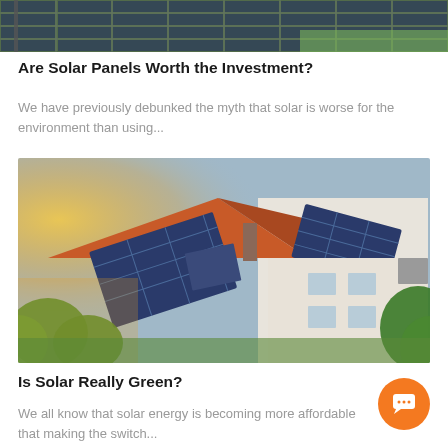[Figure (photo): Top portion of a solar panel farm or installation, cropped at the top of the page]
Are Solar Panels Worth the Investment?
We have previously debunked the myth that solar is worse for the environment than using...
[Figure (photo): Aerial view of a residential house with solar panels installed on an orange/red roof, surrounded by green trees, golden sunlight on the left]
Is Solar Really Green?
We all know that solar energy is becoming more affordable that making the switch...